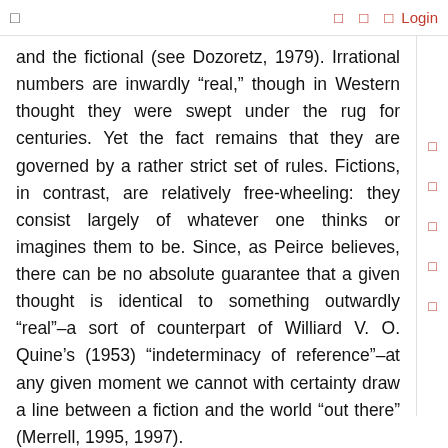Login
and the fictional (see Dozoretz, 1979). Irrational numbers are inwardly “real,” though in Western thought they were swept under the rug for centuries. Yet the fact remains that they are governed by a rather strict set of rules. Fictions, in contrast, are relatively free-wheeling: they consist largely of whatever one thinks or imagines them to be. Since, as Peirce believes, there can be no absolute guarantee that a given thought is identical to something outwardly “real”–a sort of counterpart of Williard V. O. Quine’s (1953) “indeterminacy of reference”–at any given moment we cannot with certainty draw a line between a fiction and the world “out there” (Merrell, 1995, 1997).
This initially appears to be a concession to the